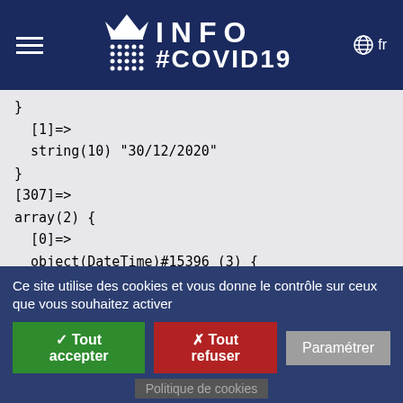INFO #COVID19 fr
}
[1]=>
string(10) "30/12/2020"
}
[307]=>
array(2) {
  [0]=>
  object(DateTime)#15396 (3) {
    ["date"]=>
    string(26) "2020-12-31 00:00:00.000000"
    ["timezone_type"]=>
    int(3)
    ["timezone"]=>
    string(3) "UTC"
  }
  [1]=>
Ce site utilise des cookies et vous donne le contrôle sur ceux que vous souhaitez activer
✓ Tout accepter | ✗ Tout refuser | Paramétrer | Politique de cookies